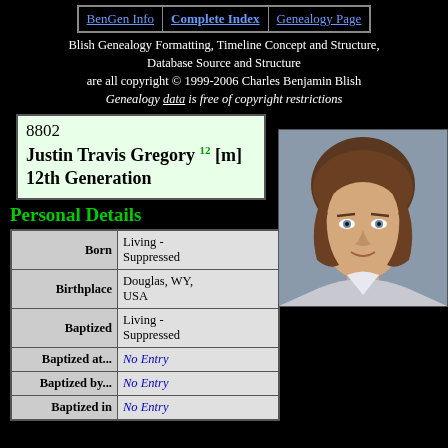BenGen Info | Complete Index | Genealogy Page
Blish Genealogy Formatting, Timeline Concept and Structure, Database Source and Structure are all copyright © 1999-2006 Charles Benjamin Blish Genealogy data is free of copyright restrictions
8802 Justin Travis Gregory 12 [m] 12th Generation
Personal Details
| Field | Value |
| --- | --- |
| Born | Living - Suppressed |
| Birthplace | Douglas, WY, USA |
| Baptized | Living - Suppressed |
| Baptized at... | No Entry |
| Baptized by... | No Entry |
| Baptized in | No Entry |
[Figure (photo): Portrait photo of Justin Travis Gregory, a young person with short brown hair]